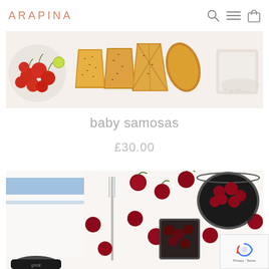ARAPINA
[Figure (photo): Top-down food photography showing samosa pastries with sesame seeds, cherry tomatoes on the vine, lime, and white cheese/feta on a white surface]
baby samosas
£30.00
[Figure (photo): Top-down food photography showing fresh red cherries scattered on a white surface, a blue striped linen cloth, a fork, a square container with dark cherry preserve, and a dark round tin labeled 'great']